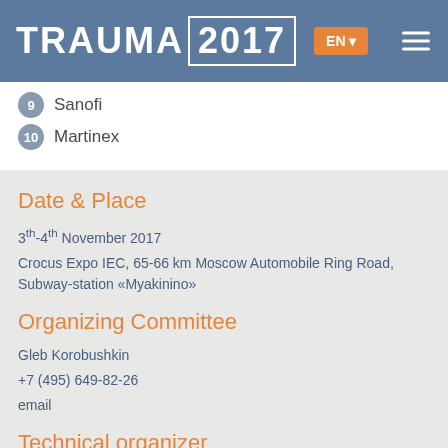TRAUMA 2017 EN
9  Sanofi
10  Martinex
Date & Place
3th-4th November 2017
Crocus Expo IEC, 65-66 km Moscow Automobile Ring Road, Subway-station «Myakinino»
Organizing Committee
Gleb Korobushkin
+7 (495) 649-82-26
email
Technical organizer
LLC «Eventarium»
+7 (926) 965-25-05
email